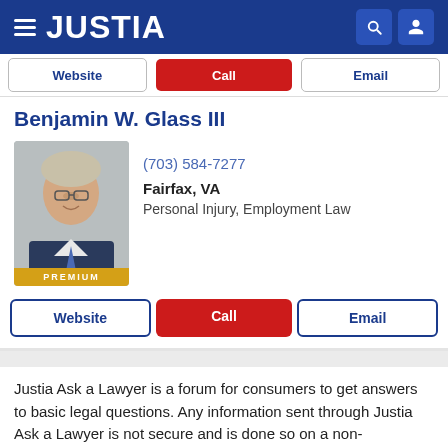JUSTIA
Website  Call  Email
Benjamin W. Glass III
(703) 584-7277
Fairfax, VA
Personal Injury, Employment Law
PREMIUM
Website  Call  Email
Justia Ask a Lawyer is a forum for consumers to get answers to basic legal questions. Any information sent through Justia Ask a Lawyer is not secure and is done so on a non-confidential basis only.
The use of this website to ask questions or receive answers